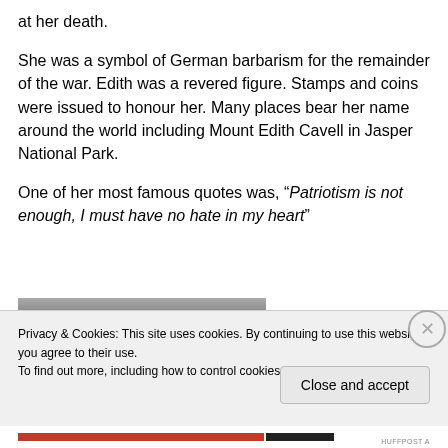at her death.
She was a symbol of German barbarism for the remainder of the war. Edith was a revered figure. Stamps and coins were issued to honour her. Many places bear her name around the world including Mount Edith Cavell in Jasper National Park.
One of her most famous quotes was, “Patriotism is not enough, I must have no hate in my heart”
[Figure (photo): Black and white photograph, partially visible, showing a person]
Privacy & Cookies: This site uses cookies. By continuing to use this website, you agree to their use.
To find out more, including how to control cookies, see here: Cookie Policy